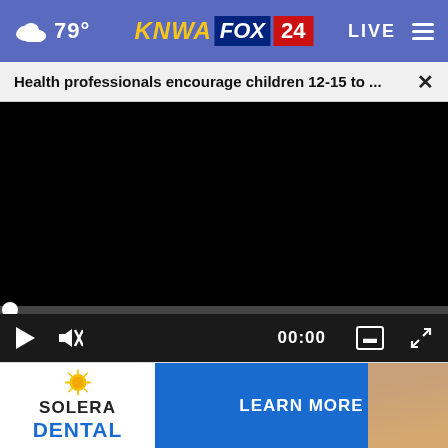79° KNWA FOX 24 LIVE
Health professionals encourage children 12-15 to ...
[Figure (screenshot): Black video player area with progress bar at beginning (00:00), play button, mute icon, timestamp 00:00, CC button, and fullscreen button on dark control bar]
[Figure (photo): Partial thumbnail showing people in background, partially obscured by advertisement overlay]
[Figure (infographic): Solera Dental advertisement banner with sun logo, SOLERA text, DENTAL text in blue, LEARN MORE blue button, and woman's face photo on right]